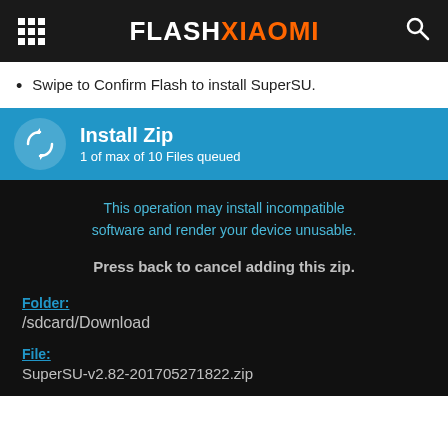FLASHXIAOMI
Swipe to Confirm Flash to install SuperSU.
[Figure (screenshot): Android custom recovery Install Zip screen showing 'Install Zip — 1 of max of 10 Files queued' with a blue header, warning text 'This operation may install incompatible software and render your device unusable.', 'Press back to cancel adding this zip.', Folder: /sdcard/Download, File: SuperSU-v2.82-201705271822.zip]